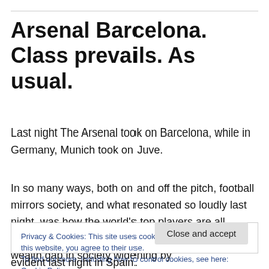Arsenal Barcelona. Class prevails. As usual.
Last night The Arsenal took on Barcelona, while in Germany, Munich took on Juve.
In so many ways, both on and off the pitch, football mirrors society, and what resonated so loudly last night, was how the world's top players are all crammed into four or five sides. Rather like the wealth gap in society widening by
Privacy & Cookies: This site uses cookies. By continuing to use this website, you agree to their use.
To find out more, including how to control cookies, see here: Cookie Policy
evident last night in Spain.